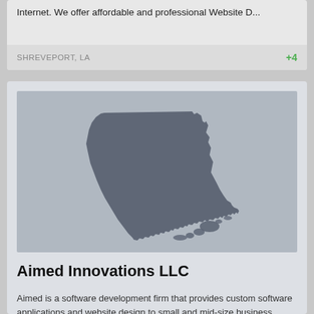Internet. We offer affordable and professional Website D...
SHREVEPORT, LA
+4
[Figure (map): Silhouette map of the state of Louisiana in dark gray on a light gray background]
Aimed Innovations LLC
Aimed is a software development firm that provides custom software applications and website design to small and mid-size business owners.